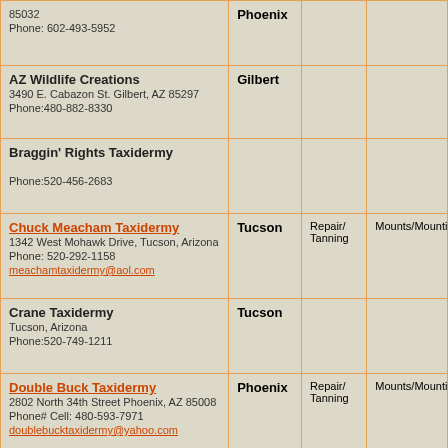| Business Name/Address | City | Repair/Tanning | Mounts/Mounting |
| --- | --- | --- | --- |
| 85032
Phone: 602-493-5952 | Phoenix |  |  |
| AZ Wildlife Creations
3490 E. Cabazon St. Gilbert, AZ 85297
Phone:480-882-8330 | Gilbert |  |  |
| Braggin' Rights Taxidermy

Phone:520-456-2683 |  |  |  |
| Chuck Meacham Taxidermy
1342 West Mohawk Drive, Tucson, Arizona
Phone: 520-292-1158
meachamtaxidermy@aol.com | Tucson | Repair/Tanning | Mounts/Mounting |
| Crane Taxidermy
Tucson, Arizona
Phone:520-749-1211 | Tucson |  |  |
| Double Buck Taxidermy
2802 North 34th Street Phoenix, AZ 85008
Phone# Cell: 480-593-7971
doublebucktaxidermy@yahoo.com | Phoenix | Repair/Tanning | Mounts/Mounting |
| Grand Canyon Wildlife Taxidermy
8738 W. Townley Ave, Peoria, AZ 85345
Phone# 623-773-0700
grandcanyontaxidermy@cox.net | Peoria | Repair/Tanning | Mounts/Mounting |
| Jernigan's Taxidermy
Tucson, Arizona |  |  |  |